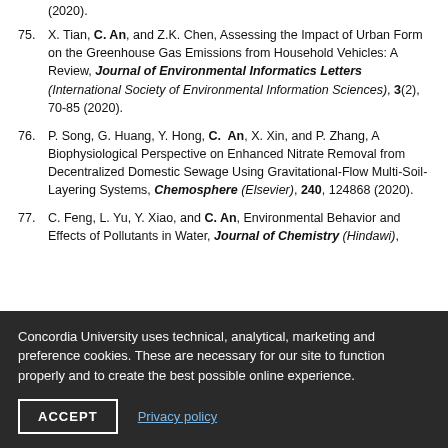(2020).
75. X. Tian, C. An, and Z.K. Chen, Assessing the Impact of Urban Form on the Greenhouse Gas Emissions from Household Vehicles: A Review, Journal of Environmental Informatics Letters (International Society of Environmental Information Sciences), 3(2), 70-85 (2020).
76. P. Song, G. Huang, Y. Hong, C. An, X. Xin, and P. Zhang, A Biophysiological Perspective on Enhanced Nitrate Removal from Decentralized Domestic Sewage Using Gravitational-Flow Multi-Soil-Layering Systems, Chemosphere (Elsevier), 240, 124868 (2020).
77. C. Feng, L. Yu, Y. Xiao, and C. An, Environmental Behavior and Effects of Pollutants in Water, Journal of Chemistry (Hindawi),
Concordia University uses technical, analytical, marketing and preference cookies. These are necessary for our site to function properly and to create the best possible online experience.
ACCEPT | Privacy policy